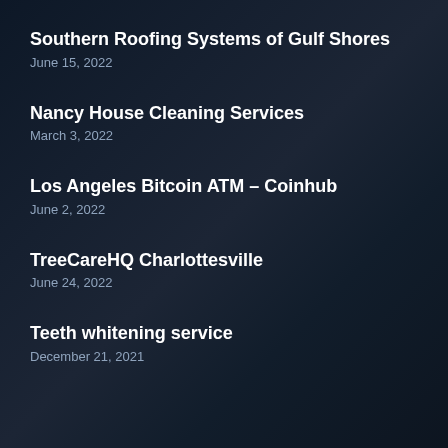Southern Roofing Systems of Gulf Shores
June 15, 2022
Nancy House Cleaning Services
March 3, 2022
Los Angeles Bitcoin ATM – Coinhub
June 2, 2022
TreeCareHQ Charlottesville
June 24, 2022
Teeth whitening service
December 21, 2021